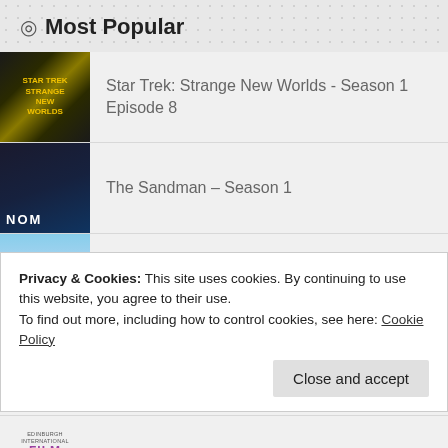Most Popular
Star Trek: Strange New Worlds - Season 1 Episode 8
The Sandman – Season 1
Fall
Sissy
LOLA
Titans – Season 1 Episode 8
Privacy & Cookies: This site uses cookies. By continuing to use this website, you agree to their use.
To find out more, including how to control cookies, see here: Cookie Policy
Close and accept